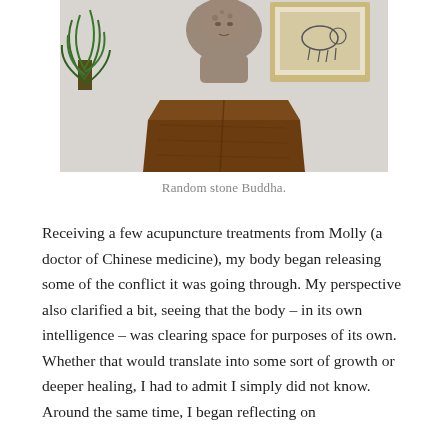[Figure (photo): A stone Buddha sculpture resting on a wooden octagonal pedestal, with a plant visible on the left and a framed artwork on the wall in the background.]
Random stone Buddha.
Receiving a few acupuncture treatments from Molly (a doctor of Chinese medicine), my body began releasing some of the conflict it was going through. My perspective also clarified a bit, seeing that the body – in its own intelligence – was clearing space for purposes of its own. Whether that would translate into some sort of growth or deeper healing, I had to admit I simply did not know. Around the same time, I began reflecting on